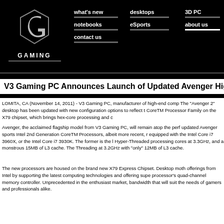[Figure (logo): V3 Gaming PC logo — stylized G letter in white on black background with 'GAMING' text below]
what's new   desktops   3D PC   notebooks   eSports   about us   contact us
V3 Gaming PC Announces Launch of Updated Avenger Higl
LOMITA, CA (November 14, 2011) - V3 Gaming PC, manufacturer of high-end comp The "Avenger 2" desktop has been updated with new configuration options to reflect t CoreTM Processor Family on the X79 chipset, which brings hex-core processing and c
Avenger, the acclaimed flagship model from V3 Gaming PC, will remain atop the perf updated Avenger sports Intel 2nd Generation CoreTM Processors, albeit more recent, r equipped with the Intel Core i7 3960X, or the Intel Core i7 3930K. The former is the l Hyper-Threaded processing cores at 3.3GHz, and a monstrous 15MB of L3 cache. The Threading at 3.2GHz with "only" 12MB of L3 cache.
The new processors are housed on the brand new X79 Express Chipset. Desktop moth offerings from Intel by supporting the latest computing technologies and offering supe processor's quad-channel memory controller. Unprecedented in the enthusiast market, bandwidth that will suit the needs of gamers and professionals alike.